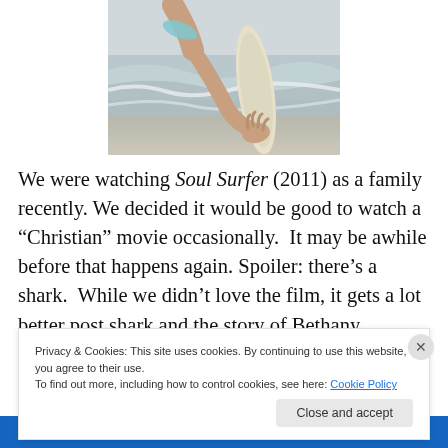[Figure (photo): Person holding a surfboard at the beach, waves in background, black and white / muted color photo]
We were watching Soul Surfer (2011) as a family recently. We decided it would be good to watch a “Christian” movie occasionally. It may be awhile before that happens again. Spoiler: there’s a shark. While we didn’t love the film, it gets a lot better post shark and the story of Bethany
Privacy & Cookies: This site uses cookies. By continuing to use this website, you agree to their use.
To find out more, including how to control cookies, see here: Cookie Policy
Close and accept